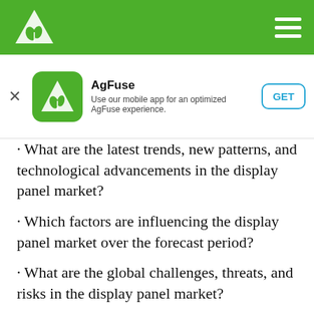AgFuse navigation bar
[Figure (screenshot): AgFuse app download banner with logo, app name, description, and GET button]
· What are the latest trends, new patterns, and technological advancements in the display panel market?
· Which factors are influencing the display panel market over the forecast period?
· What are the global challenges, threats, and risks in the display panel market?
· Which factors are propelling and restraining the display panel market?
· What are the demanding global regions of the